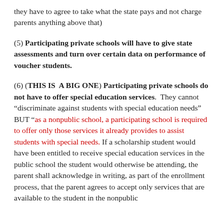they have to agree to take what the state pays and not charge parents anything above that)
(5) Participating private schools will have to give state assessments and turn over certain data on performance of voucher students.
(6) (THIS IS A BIG ONE) Participating private schools do not have to offer special education services. They cannot “discriminate against students with special education needs” BUT “as a nonpublic school, a participating school is required to offer only those services it already provides to assist students with special needs. If a scholarship student would have been entitled to receive special education services in the public school the student would otherwise be attending, the parent shall acknowledge in writing, as part of the enrollment process, that the parent agrees to accept only services that are available to the student in the nonpublic